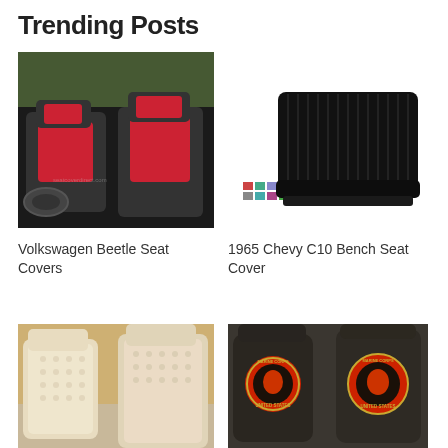Trending Posts
[Figure (photo): Volkswagen Beetle car seats with black and red diamond-stitched seat covers]
[Figure (photo): 1965 Chevy C10 black bench seat cover shown from front, with small color swatches below]
Volkswagen Beetle Seat Covers
1965 Chevy C10 Bench Seat Cover
[Figure (photo): Cream/beige lace car seat covers on front seats of a car]
[Figure (photo): United States Marine Corps seat covers on two front car seats, dark with red and gold emblem]
Lace Car Seat Covers
Marine Corps Seat Covers